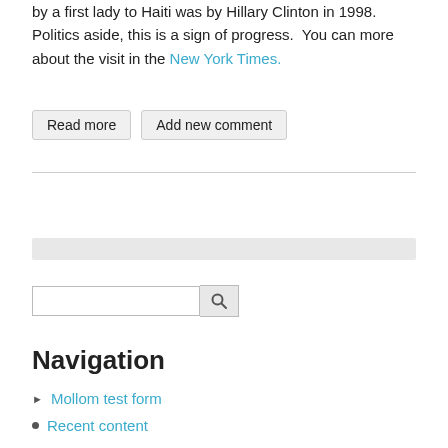by a first lady to Haiti was by Hillary Clinton in 1998.  Politics aside, this is a sign of progress.  You can more about the visit in the New York Times.
Read more | Add new comment
Navigation
Mollom test form
Recent content